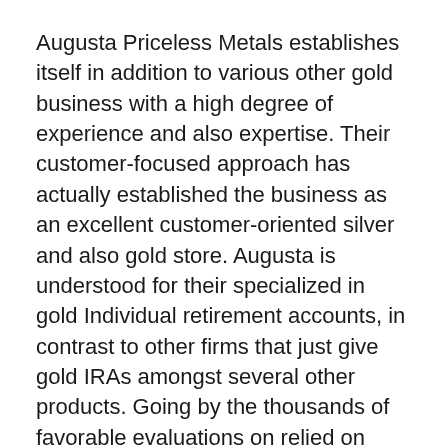Augusta Priceless Metals establishes itself in addition to various other gold business with a high degree of experience and also expertise. Their customer-focused approach has actually established the business as an excellent customer-oriented silver and also gold store. Augusta is understood for their specialized in gold Individual retirement accounts, in contrast to other firms that just give gold IRAs amongst several other products. Going by the thousands of favorable evaluations on relied on third-party websites such as Trustlink, they have effectively established themselves apart as well as earned the trust fund of their clients.
On top of that, Augusta Rare-earth elements...